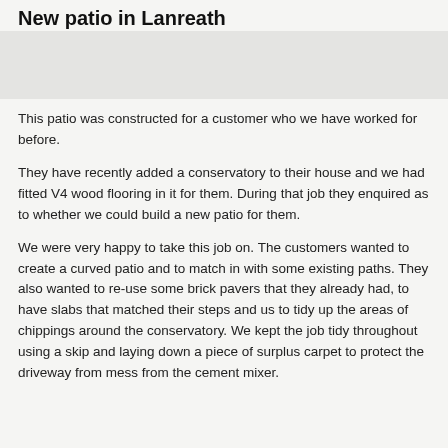New patio in Lanreath
[Figure (photo): Faded photo or image area related to patio construction in Lanreath]
This patio was constructed for a customer who we have worked for before.
They have recently added a conservatory to their house and we had fitted V4 wood flooring in it for them. During that job they enquired as to whether we could build a new patio for them.
We were very happy to take this job on. The customers wanted to create a curved patio and to match in with some existing paths. They also wanted to re-use some brick pavers that they already had, to have slabs that matched their steps and us to tidy up the areas of chippings around the conservatory. We kept the job tidy throughout using a skip and laying down a piece of surplus carpet to protect the driveway from mess from the cement mixer.